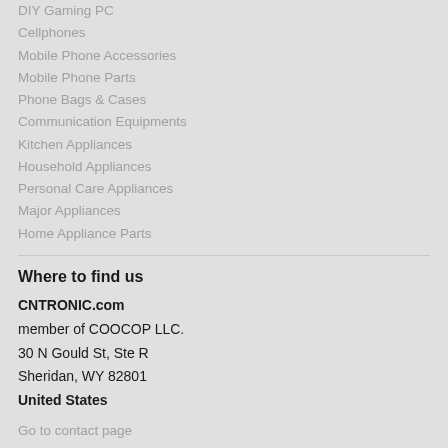DIY Gaming PC
Cellphones
Mobile Phone Accessories
Mobile Phone Parts
Phone Bags & Cases
Communication Equipments
Kitchen Appliances
Household Appliances
Personal Care Appliances
Major Appliances
Home Appliance Parts
Where to find us
CNTRONIC.com
member of COOCOP LLC.
30 N Gould St, Ste R
Sheridan, WY 82801
United States
Go to contact page